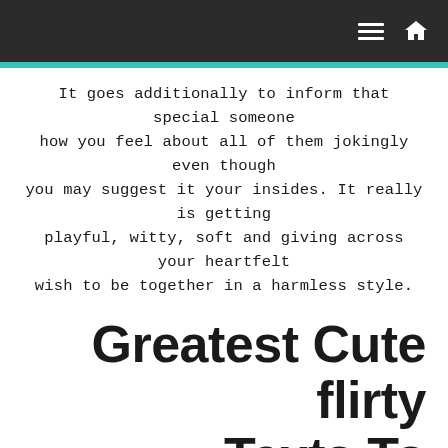navigation bar with hamburger menu and home icon
It goes additionally to inform that special someone how you feel about all of them jokingly even though you may suggest it your insides. It really is getting playful, witty, soft and giving across your heartfelt wish to be together in a harmless style.
Greatest Cute flirty Texts To Transmit To A Man
How would you try this? It can be done in many ways by gestures, discussions and chatting . Some lovely flirty text messages may do the secret to success. To achieve this a person do not require finish about